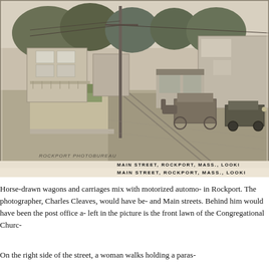[Figure (photo): Historical black-and-white postcard photograph of Main Street, Rockport, Massachusetts. Shows a street scene with horse-drawn wagons, an early motorized automobile, trolley tracks, a tall utility pole, trees, storefronts, and buildings. A watermark at lower-left reads 'ROCKPORT PHOTOBUREAU'. Caption text along the bottom reads 'MAIN STREET, ROCKPORT, MASS., LOOKI']
MAIN STREET, ROCKPORT, MASS., LOOKI
Horse-drawn wagons and carriages mix with motorized automo... in Rockport. The photographer, Charles Cleaves, would have be... and Main streets. Behind him would have been the post office a... left in the picture is the front lawn of the Congregational Churc...
On the right side of the street, a woman walks holding a paras...